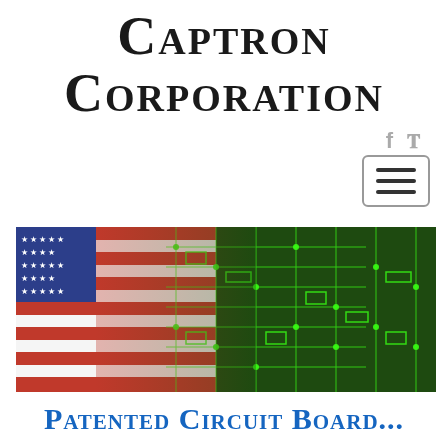Captron Corporation
[Figure (screenshot): Navigation bar with social media icons (Facebook, Twitter) and a hamburger menu button]
[Figure (photo): Composite image of an American flag overlaid with a green circuit board/PCB pattern]
Patented Circuit Board...